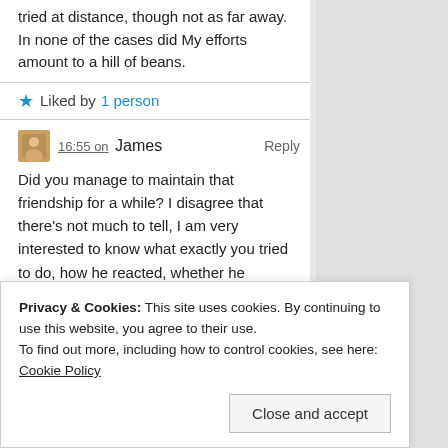tried at distance, though not as far away. In none of the cases did My efforts amount to a hill of beans.
★ Liked by 1 person
16:55 on James Reply
Did you manage to maintain that friendship for a while? I disagree that there's not much to tell, I am very interested to know what exactly you tried to do, how he reacted, whether he showed any sin of understanding what you were trying to do, and much more than I can list here. Please, if you can bear to impart more of your poetic wisdom to me, I am sure it would deepen our friendship (or stop me from bugging you, whichever you prefer 😊)
Privacy & Cookies: This site uses cookies. By continuing to use this website, you agree to their use. To find out more, including how to control cookies, see here: Cookie Policy
Close and accept